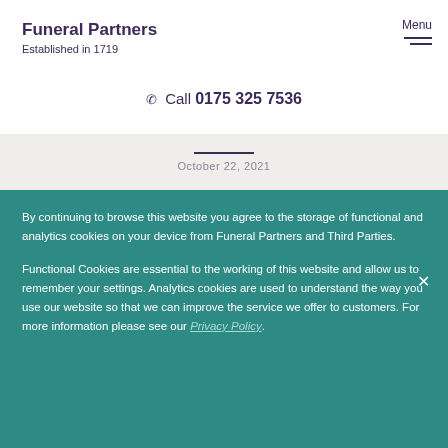Funeral Partners
Established in 1719
Menu
Call 0175 325 7536
October 22, 2021
By continuing to browse this website you agree to the storage of functional and analytics cookies on your device from Funeral Partners and Third Parties.
Functional Cookies are essential to the working of this website and allow us to remember your settings. Analytics cookies are used to understand the way you use our website so that we can improve the service we offer to customers. For more information please see our Privacy Policy.